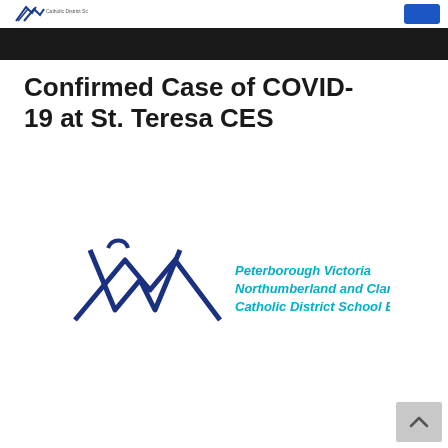Peterborough Victoria Northumberland and Clarington Catholic District School Board
Confirmed Case of COVID-19 at St. Teresa CES
[Figure (logo): Peterborough Victoria Northumberland and Clarington Catholic District School Board logo — blue stylized PV letters with italic text of the full board name in teal/cyan.]